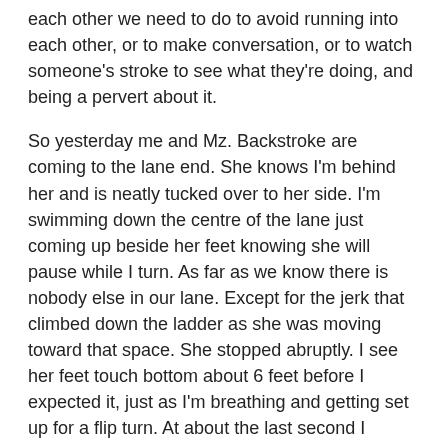each other we need to do to avoid running into each other, or to make conversation, or to watch someone's stroke to see what they're doing, and being a pervert about it.
So yesterday me and Mz. Backstroke are coming to the lane end. She knows I'm behind her and is neatly tucked over to her side. I'm swimming down the centre of the lane just coming up beside her feet knowing she will pause while I turn. As far as we know there is nobody else in our lane. Except for the jerk that climbed down the ladder as she was moving toward that space. She stopped abruptly. I see her feet touch bottom about 6 feet before I expected it, just as I'm breathing and getting set up for a flip turn. At about the last second I realized someone had gotten in Mz. Backstroke's way, and was now standing right at flip turn central.
You don't have much time to think. Anybody that rude is likely to push off just then. At the last second I converted to an open turn just to keep an eye on him. Told him "wrong place to be, pal", and pushed off. Mz. Backstroke pushed off right on my feet, and I was happy to see him swimming in